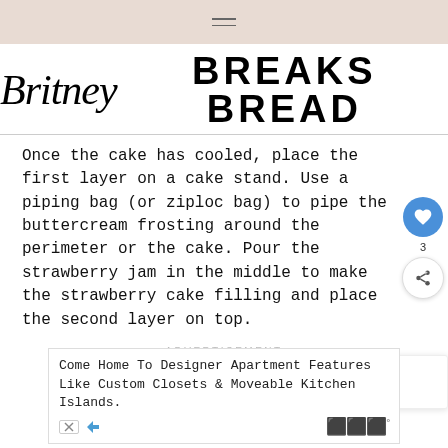≡
Britney BREAKS BREAD
Once the cake has cooled, place the first layer on a cake stand. Use a piping bag (or ziploc bag) to pipe the buttercream frosting around the perimeter or the cake. Pour the strawberry jam in the middle to make the strawberry cake filling and place the second layer on top.
ADVERTISEMENT
[Figure (other): What's Next widget showing Strawberry Macarons with a circular food photo]
[Figure (other): Advertisement banner: Come Home To Designer Apartment Features Like Custom Closets & Moveable Kitchen Islands.]